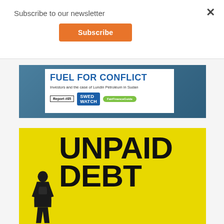Subscribe to our newsletter
Subscribe
[Figure (illustration): Cover of report 'Fuel for Conflict: Investors and the case of Lundin Petroleum in Sudan', Report #05, published by Swedwatch and FairFinanceGuide.]
[Figure (illustration): Cover of report 'Unpaid Debt' showing bold black text on yellow background with a person silhouette.]